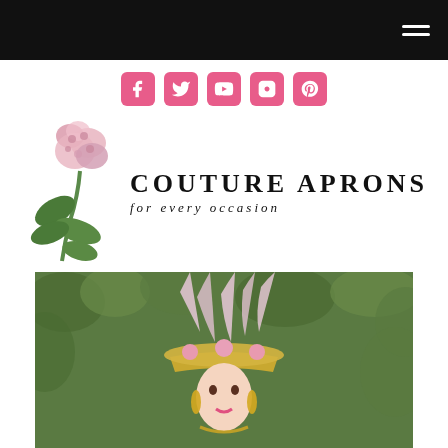[Figure (other): Black navigation header bar with hamburger menu icon (three white horizontal lines) on the right side]
[Figure (other): Social media icons row: Facebook, Twitter, YouTube, Instagram, Pinterest — all in pink/rose color on rounded square backgrounds]
[Figure (logo): Couture Aprons logo: pink hydrangea flower illustration on left, text COUTURE APRONS in bold serif with tagline 'for every occasion' in italic below]
[Figure (photo): Woman wearing an elaborate gold crown/headdress with large pink feathers and pink roses, standing in front of green foliage]